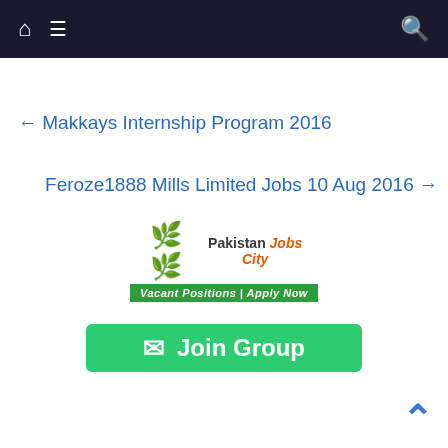Navigation bar with home icon, menu icon, and search icon
← Makkays Internship Program 2016
Feroze1888 Mills Limited Jobs 10 Aug 2016 →
[Figure (logo): Pakistan Jobs City logo with green banner: Vacant Positions | Apply Now]
[Figure (other): Green Join Group button with WhatsApp icon]